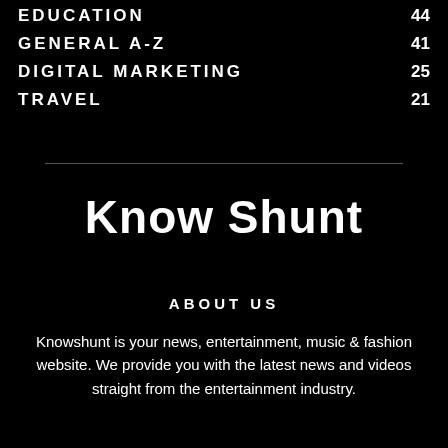EDUCATION  44
GENERAL A-Z  41
DIGITAL MARKETING  25
TRAVEL  21
Know Shunt
ABOUT US
Knowshunt is your news, entertainment, music & fashion website. We provide you with the latest news and videos straight from the entertainment industry.